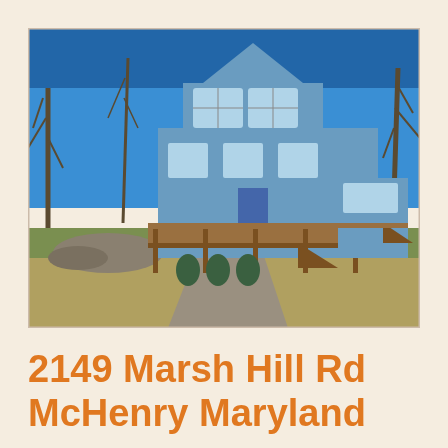[Figure (photo): Exterior photo of a two-story blue house with large deck and wooden railings, surrounded by bare trees, with a gravel driveway and green lawn in the foreground, blue sky above.]
2149 Marsh Hill Rd
McHenry Maryland